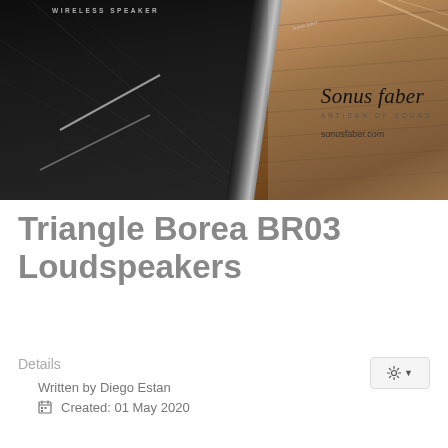[Figure (photo): Sonus faber wireless speaker advertisement banner. Left portion shows a black textured speaker surface with diagonal white stripes. Right portion shows a warm wood grain surface. Center shows speaker edge. Overlay text reads 'WIRELESS SPEAKER' at top. Branding area shows 'Sonus faber', 'ARTISAN OF SOUND', and 'sonusfaber.com']
Triangle Borea BR03 Loudspeakers
Details
Written by Diego Estan
Created: 01 May 2020